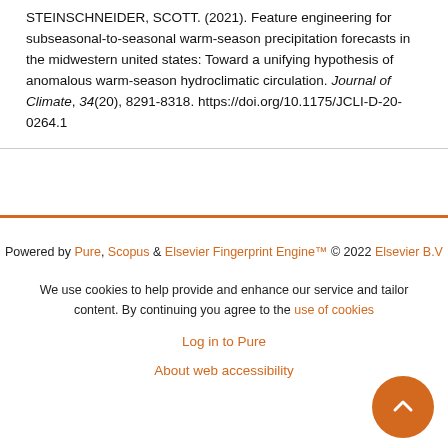STEINSCHNEIDER, SCOTT. (2021). Feature engineering for subseasonal-to-seasonal warm-season precipitation forecasts in the midwestern united states: Toward a unifying hypothesis of anomalous warm-season hydroclimatic circulation. Journal of Climate, 34(20), 8291-8318. https://doi.org/10.1175/JCLI-D-20-0264.1
Powered by Pure, Scopus & Elsevier Fingerprint Engine™ © 2022 Elsevier B.V
We use cookies to help provide and enhance our service and tailor content. By continuing you agree to the use of cookies
Log in to Pure
About web accessibility